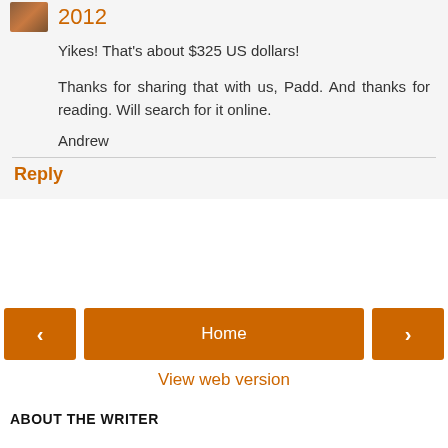2012
Yikes! That's about $325 US dollars!
Thanks for sharing that with us, Padd. And thanks for reading. Will search for it online.
Andrew
Reply
Home
View web version
ABOUT THE WRITER